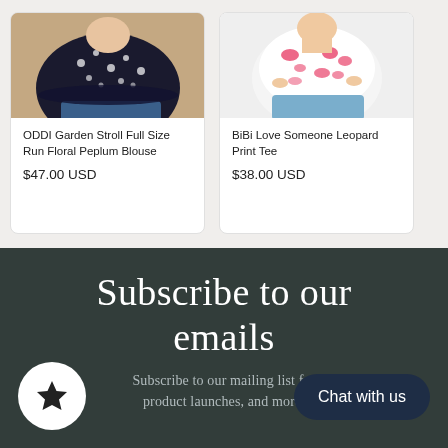[Figure (photo): Product photo of a black floral peplum blouse on a model, cropped at torso]
ODDI Garden Stroll Full Size Run Floral Peplum Blouse
$47.00 USD
[Figure (photo): Product photo of a pink leopard print tee on a model, cropped at torso]
BiBi Love Someone Leopard Print Tee
$38.00 USD
Subscribe to our emails
Subscribe to our mailing list for product launches, and more.